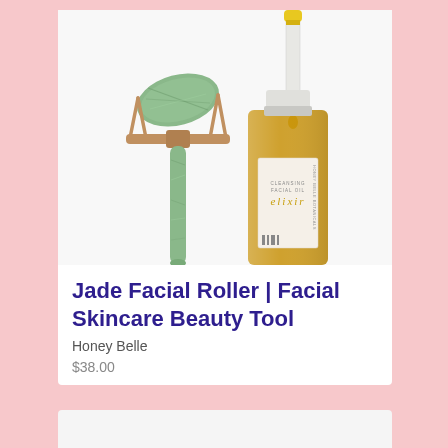[Figure (photo): Product photo showing a jade facial roller with rose gold handle and a glass bottle of elixir facial oil with a dropper, on a white background.]
Jade Facial Roller | Facial Skincare Beauty Tool
Honey Belle
$38.00